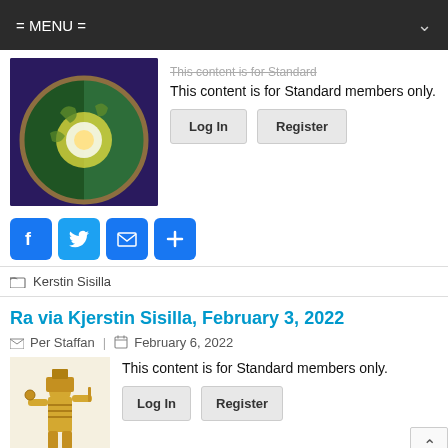= MENU =
This content is for Standard members only.
[Figure (photo): Globe/Earth cutaway illustration showing interior layers with green surface and glowing core, on dark blue/purple background]
[Figure (infographic): Social share buttons: Facebook (f), Twitter (bird), Email (envelope), Share (+)]
Kerstin Sisilla
Ra via Kjerstin Sisilla, February 3, 2022
Per Staffan | February 6, 2022
[Figure (photo): Ancient Egyptian figure Ra depicted as golden statue holding objects, wearing headdress]
This content is for Standard members only.